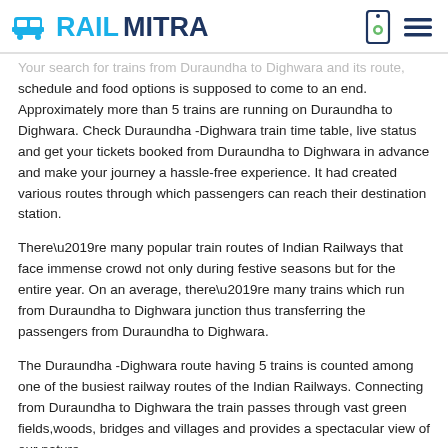RAILMITRA
Your search for trains from Duraundha to Dighwara and its route, schedule and food options is supposed to come to an end. Approximately more than 5 trains are running on Duraundha to Dighwara. Check Duraundha -Dighwara train time table, live status and get your tickets booked from Duraundha to Dighwara in advance and make your journey a hassle-free experience. It had created various routes through which passengers can reach their destination station.
There’re many popular train routes of Indian Railways that face immense crowd not only during festive seasons but for the entire year. On an average, there’re many trains which run from Duraundha to Dighwara junction thus transferring the passengers from Duraundha to Dighwara.
The Duraundha -Dighwara route having 5 trains is counted among one of the busiest railway routes of the Indian Railways. Connecting from Duraundha to Dighwara the train passes through vast green fields,woods, bridges and villages and provides a spectacular view of our nature.